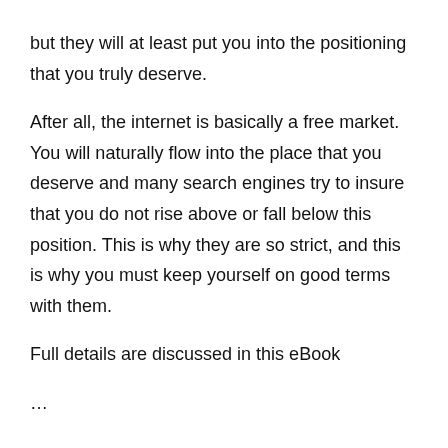but they will at least put you into the positioning that you truly deserve.

After all, the internet is basically a free market. You will naturally flow into the place that you deserve and many search engines try to insure that you do not rise above or fall below this position. This is why they are so strict, and this is why you must keep yourself on good terms with them.

Full details are discussed in this eBook

...